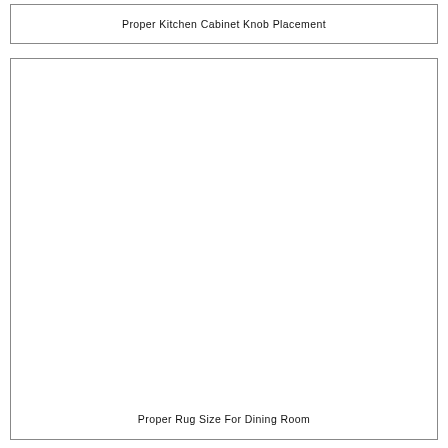Proper Kitchen Cabinet Knob Placement
[Figure (photo): Large blank image placeholder for a photo related to Proper Rug Size For Dining Room]
Proper Rug Size For Dining Room